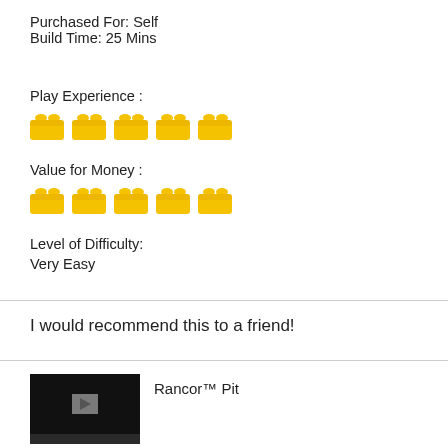Purchased For: Self
Build Time:  25  Mins
Play Experience :
[Figure (illustration): Five yellow LEGO brick icons in a row representing Play Experience rating (5 out of 5)]
Value for Money :
[Figure (illustration): Five yellow LEGO brick icons in a row representing Value for Money rating (5 out of 5)]
Level of Difficulty:
Very Easy
I would recommend this to a friend!
[Figure (screenshot): Video thumbnail with black background and play button, with Rancor™ Pit label beside it]